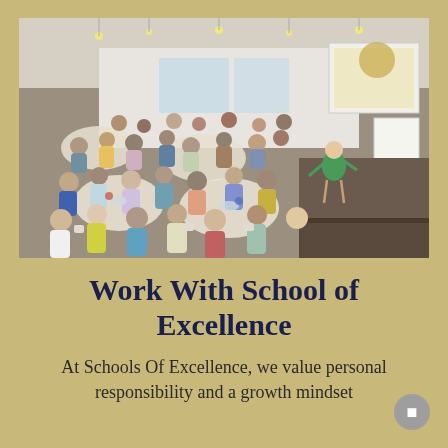[Figure (photo): A large indoor gathering or workshop with many people seated at round tables. A woman in a green dress stands at the front near a projection screen, apparently presenting or speaking. The venue has industrial-style ceilings with hanging lights and large windows.]
Work With School of Excellence
At Schools Of Excellence, we value personal responsibility and a growth mindset